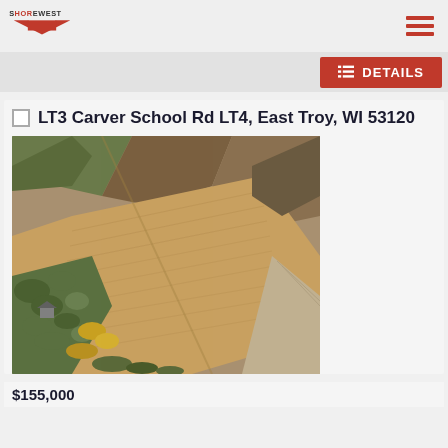Shorewest
[Figure (screenshot): Details button with list icon on red background]
LT3 Carver School Rd LT4, East Troy, WI 53120
[Figure (photo): Aerial drone photo of agricultural farmland fields in East Troy, WI showing large flat crop fields with tree lines, a rural road, and some farm structures in the lower left corner]